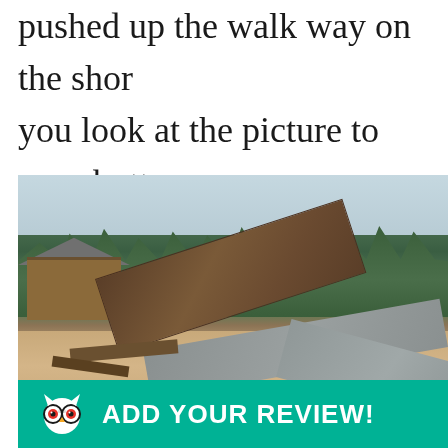pushed up the walk way on the shor you look at the picture to your botto see how the bay location dock is tw
[Figure (photo): Photo of damaged/collapsed wooden dock and walkway planks scattered on sandy ground, with spruce trees and a log cabin visible in the background. A TripAdvisor 'Add Your Review!' banner overlays the bottom of the image.]